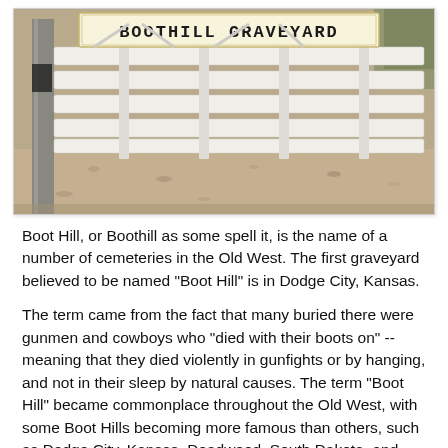[Figure (photo): Photo of a white wooden fence gate with a sign reading 'BOOTHILL GRAVEYARD' in bold block letters. The background shows gravel ground and additional fence slats.]
Boot Hill, or Boothill as some spell it, is the name of a number of cemeteries in the Old West. The first graveyard believed to be named "Boot Hill" is in Dodge City, Kansas.
The term came from the fact that many buried there were gunmen and cowboys who "died with their boots on" -- meaning that they died violently in gunfights or by hanging, and not in their sleep by natural causes. The term "Boot Hill" became commonplace throughout the Old West, with some Boot Hills becoming more famous than others, such as Dodge City, Kansas, Deadwood, South Dakota, and